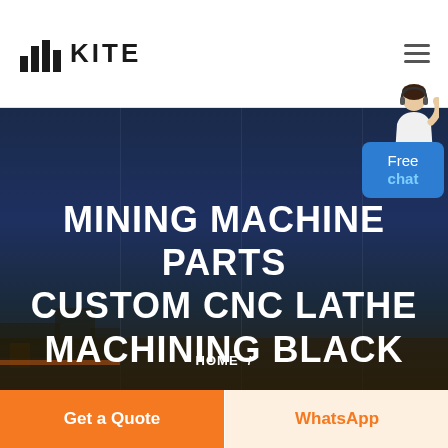KITE
MINING MACHINE PARTS CUSTOM CNC LATHE MACHINING BLACK
HOME /
[Figure (illustration): Free chat customer service widget with a person in white blazer and headset, and a blue chat bubble saying 'Free chat']
Get a Quote
WhatsApp